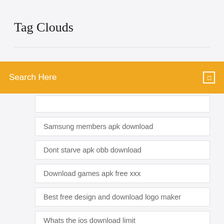Tag Clouds
Search Here
Samsung members apk download
Dont starve apk obb download
Download games apk free xxx
Best free design and download logo maker
Whats the ios download limit